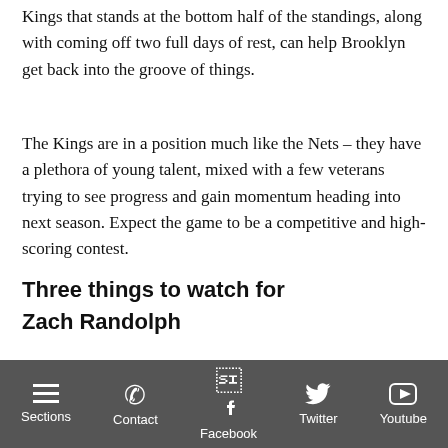Kings that stands at the bottom half of the standings, along with coming off two full days of rest, can help Brooklyn get back into the groove of things.
The Kings are in a position much like the Nets – they have a plethora of young talent, mixed with a few veterans trying to see progress and gain momentum heading into next season. Expect the game to be a competitive and high-scoring contest.
Three things to watch for
Zach Randolph
Sections | Contact | Facebook | Twitter | Youtube